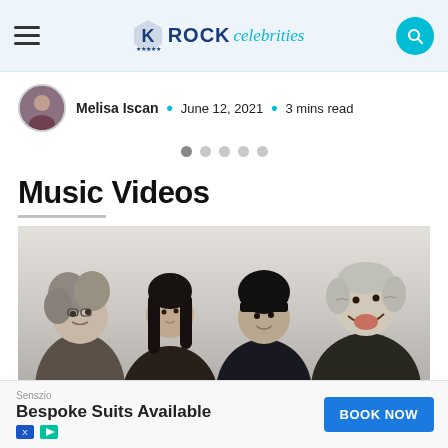ROCK celebrities — navigation header with hamburger menu and search button
Melisa Iscan · June 12, 2021 · 3 mins read
[Figure (other): Pagination indicator dots (5 dots, first active)]
Music Videos
[Figure (photo): Band photo showing four rock musicians against a white brick wall background]
Senszio — Bespoke Suits Available — BOOK NOW advertisement banner